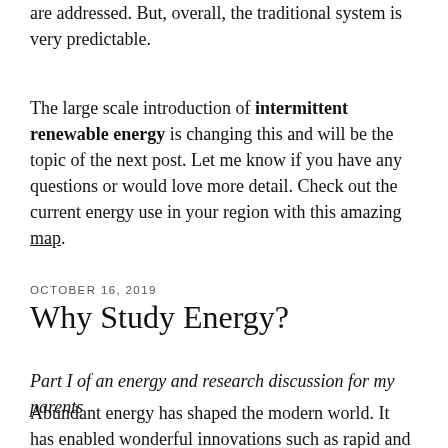are addressed. But, overall, the traditional system is very predictable.
The large scale introduction of intermittent renewable energy is changing this and will be the topic of the next post. Let me know if you have any questions or would love more detail. Check out the current energy use in your region with this amazing map.
OCTOBER 16, 2019
Why Study Energy?
Part I of an energy and research discussion for my parents
Abundant energy has shaped the modern world. It has enabled wonderful innovations such as rapid and affordable travel, vaccines produced on an industrial